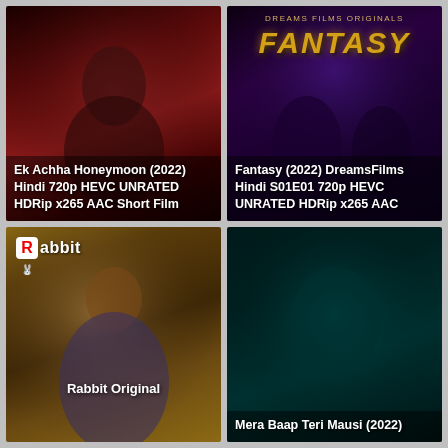[Figure (screenshot): Movie thumbnail for Ek Achha Honeymoon (2022), dark red scene]
Ek Achha Honeymoon (2022) Hindi 720p HEVC UNRATED HDRip x265 AAC Short Film
[Figure (screenshot): Movie thumbnail for Fantasy (2022) DreamsFilms, purple/dark scene with fantasy title]
Fantasy (2022) DreamsFilms Hindi S01E01 720p HEVC UNRATED HDRip x265 AAC
[Figure (screenshot): Rabbit Original web series thumbnail, woman in blue outfit, Rabbit logo top left]
Rabbit Original
[Figure (screenshot): Movie thumbnail for Mera Baap Teri Mausi (2022), dark teal scene with woman]
Mera Baap Teri Mausi (2022)